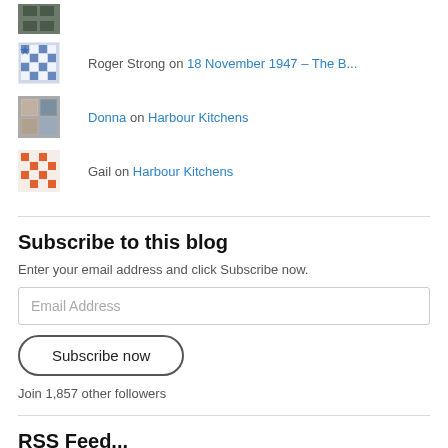(avatar image top)
Roger Strong on 18 November 1947 – The B...
Donna on Harbour Kitchens
Gail on Harbour Kitchens
Subscribe to this blog
Enter your email address and click Subscribe now.
Email Address
Subscribe now
Join 1,857 other followers
RSS Feed...